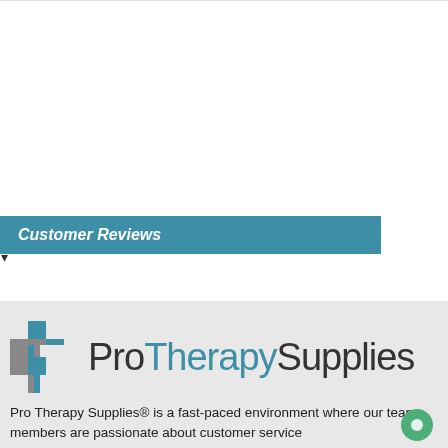Write a review about this product ▶
Customer Reviews
Newest to Oldest ▾
[Figure (logo): ProTherapySupplies cross/plus logo with teal and gray colors]
Pro Therapy Supplies® is a fast-paced environment where our team members are passionate about customer service